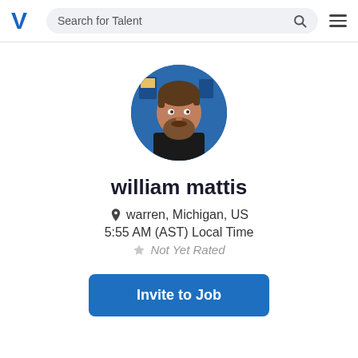Search for Talent
[Figure (photo): Profile photo of william mattis — a man with beard, blue background]
william mattis
warren, Michigan, US
5:55 AM (AST) Local Time
Not Yet Rated
Invite to Job